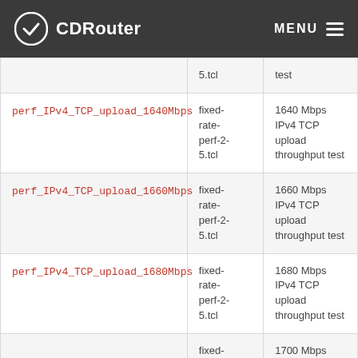CDRouter  MENU
| Test Name | Script | Description |
| --- | --- | --- |
| perf_IPv4_TCP_upload_1640Mbps | fixed-rate-perf-2-5.tcl | 1640 Mbps IPv4 TCP upload throughput test |
| perf_IPv4_TCP_upload_1660Mbps | fixed-rate-perf-2-5.tcl | 1660 Mbps IPv4 TCP upload throughput test |
| perf_IPv4_TCP_upload_1680Mbps | fixed-rate-perf-2-5.tcl | 1680 Mbps IPv4 TCP upload throughput test |
| (partial) ... | fixed-rate-... | 1700 Mbps IPv4 TCP ... |